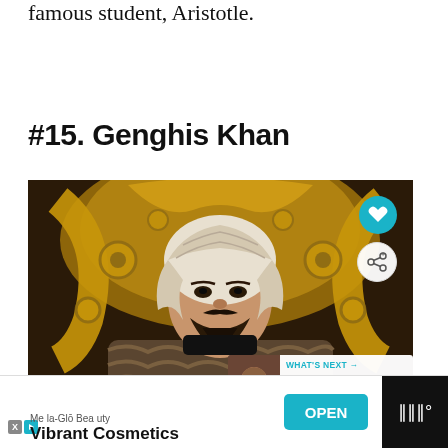famous student, Aristotle.
#15. Genghis Khan
[Figure (photo): Photo of a person dressed as Genghis Khan in traditional Mongolian warrior costume with a white fur-trimmed helmet and fur cloak, seated in front of an ornate golden throne backdrop. Social media UI overlay elements including a heart button, share button, and a 'What's Next' panel showing 'Why Do Men Grow Beard...' are visible.]
Mela-Glō Beauty
Vibrant Cosmetics